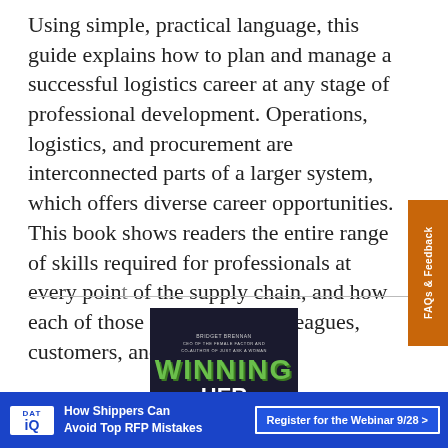Using simple, practical language, this guide explains how to plan and manage a successful logistics career at any stage of professional development. Operations, logistics, and procurement are interconnected parts of a larger system, which offers diverse career opportunities. This book shows readers the entire range of skills required for professionals at every point of the supply chain, and how each of those roles affects colleagues, customers, and suppliers.
[Figure (illustration): Book cover of 'Winning Her Business' by Bridget Brennan. Dark navy background with stylized green and yellow block lettering. Title reads WINNING HER BUSINESS.]
[Figure (infographic): Orange vertical tab on the right edge reading 'FAQs & Feedback' rotated 90 degrees.]
[Figure (infographic): Blue advertisement bar at the bottom. DAT IQ logo on left. Text: 'How Shippers Can Avoid Top RFP Mistakes'. Button on right: 'Register for the Webinar 9/28 >']